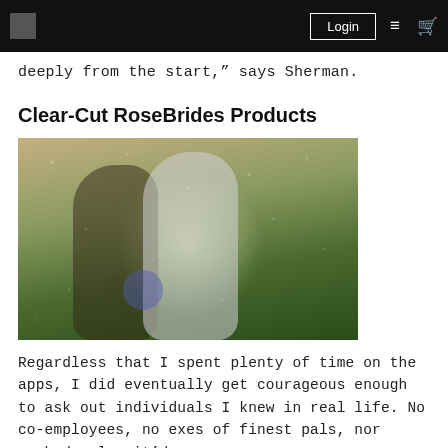Login
deeply from the start,” says Sherman.
Clear-Cut RoseBrides Products
[Figure (photo): A couple kissing outdoors in the rain, bride in white dress holding a blue bouquet, groom in white shirt, romantic bokeh background.]
Regardless that I spent plenty of time on the apps, I did eventually get courageous enough to ask out individuals I knew in real life. No co-employees, no exes of finest pals, nor anybody else it’d